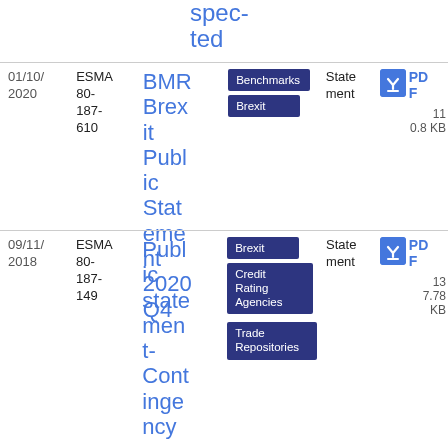spec­ted
| Date | Reference | Title | Tags | Type | Download |
| --- | --- | --- | --- | --- | --- |
| 01/10/2020 | ESMA 80-187-610 | BMR Brexit Public Statement 2020 Q4 | Benchmarks, Brexit | Statement | PDF 11 0.8 KB |
| 09/11/2018 | ESMA 80-187-149 | Public statement- Contingency | Brexit, Credit Rating Agencies, Trade Repositories | Statement | PDF 13 7.78 KB |